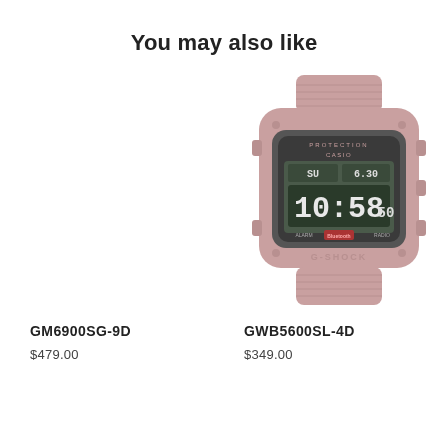You may also like
[Figure (photo): Photo of Casio G-SHOCK GWB5600SL-4D digital watch in dusty pink/mauve color, showing digital face with time 10:58:50 and date 6.30]
GM6900SG-9D
$479.00
GWB5600SL-4D
$349.00